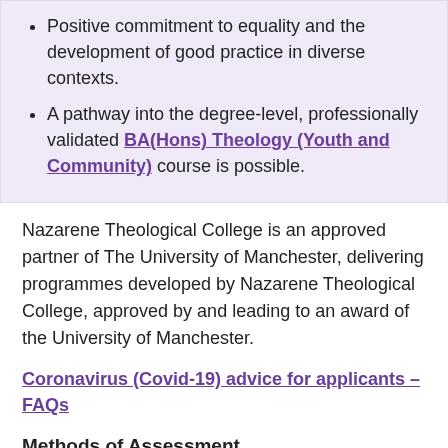Positive commitment to equality and the development of good practice in diverse contexts.
A pathway into the degree-level, professionally validated BA(Hons) Theology (Youth and Community) course is possible.
Nazarene Theological College is an approved partner of The University of Manchester, delivering programmes developed by Nazarene Theological College, approved by and leading to an award of the University of Manchester.
Coronavirus (Covid-19) advice for applicants – FAQs
Methods of Assessment
We try to include a wide variety of assessment methods throughout our programmes. Types of formative (non-credit bearing) assessment include individual tutorials, on-site visits, group discussions, written and oral feedback on essays. Our Summative (credit-bearing) assessments include research